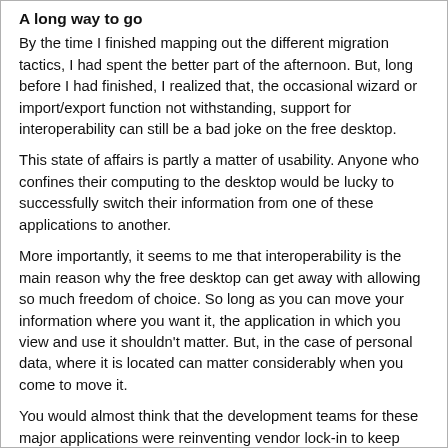A long way to go
By the time I finished mapping out the different migration tactics, I had spent the better part of the afternoon. But, long before I had finished, I realized that, the occasional wizard or import/export function not withstanding, support for interoperability can still be a bad joke on the free desktop.
This state of affairs is partly a matter of usability. Anyone who confines their computing to the desktop would be lucky to successfully switch their information from one of these applications to another.
More importantly, it seems to me that interoperability is the main reason why the free desktop can get away with allowing so much freedom of choice. So long as you can move your information where you want it, the application in which you view and use it shouldn't matter. But, in the case of personal data, where it is located can matter considerably when you come to move it.
You would almost think that the development teams for these major applications were reinventing vendor lock-in to keep their user bases from becoming too curious. You could, of course, start afresh each time you chose another application set, but that would mean keeping previous choices around just on the offhand chance that you needed them. The process of moving your...